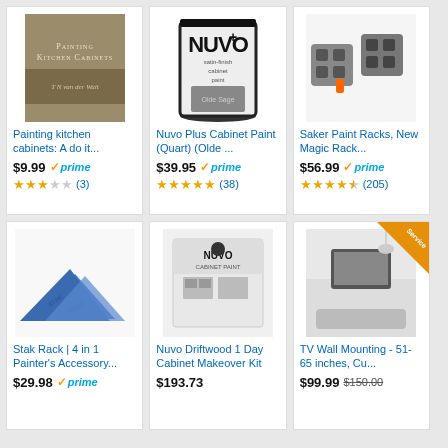[Figure (screenshot): Amazon product grid showing 6 products: Painting Kitchen Cabinets book, Nuvo Plus Cabinet Paint, Saker Paint Racks, Stak Rack painter accessory, Nuvo Driftwood Cabinet Makeover Kit, TV Wall Mounting service]
Painting kitchen cabinets: A do it...
$9.99 prime
★★★☆☆ (3)
Nuvo Plus Cabinet Paint (Quart) (Olde ...
$39.95 prime
★★★★★ (38)
Saker Paint Racks, New Magic Rack...
$56.99 prime
★★★★½ (205)
Stak Rack | 4 in 1 Painter's Accessory...
$29.98 prime
Nuvo Driftwood 1 Day Cabinet Makeover Kit
$193.73
TV Wall Mounting - 51-65 inches, Cu...
$99.99 $150.00